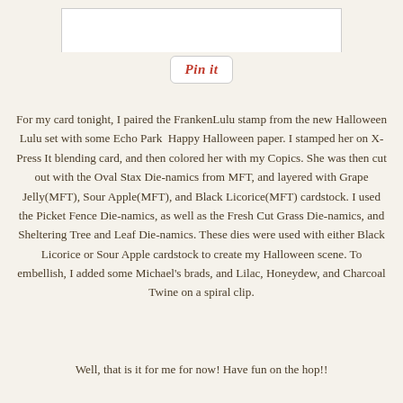[Figure (photo): Partial view of a Halloween card image at the top of the page, white card border visible]
[Figure (screenshot): Pinterest 'Pin it' button — white rounded rectangle with red italic 'Pin it' text]
For my card tonight, I paired the FrankenLulu stamp from the new Halloween Lulu set with some Echo Park  Happy Halloween paper. I stamped her on X-Press It blending card, and then colored her with my Copics. She was then cut out with the Oval Stax Die-namics from MFT, and layered with Grape Jelly(MFT), Sour Apple(MFT), and Black Licorice(MFT) cardstock. I used the Picket Fence Die-namics, as well as the Fresh Cut Grass Die-namics, and Sheltering Tree and Leaf Die-namics. These dies were used with either Black Licorice or Sour Apple cardstock to create my Halloween scene. To embellish, I added some Michael's brads, and Lilac, Honeydew, and Charcoal Twine on a spiral clip.
Well, that is it for me for now! Have fun on the hop!!